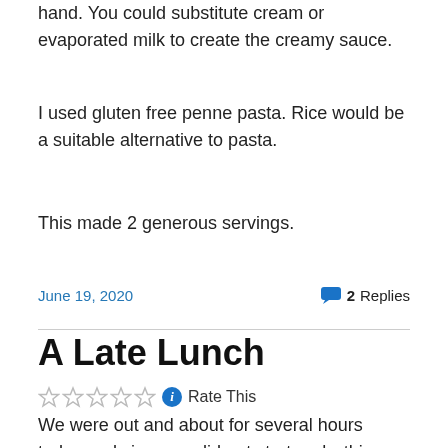hand.  You could substitute cream or evaporated milk to create the creamy sauce.
I used gluten free penne pasta.  Rice would be a suitable alternative to pasta.
This made 2 generous servings.
June 19, 2020   2 Replies
A Late Lunch
Rate This
We were out and about for several hours today and since we did not start early, this included lunchtime.  Rather than